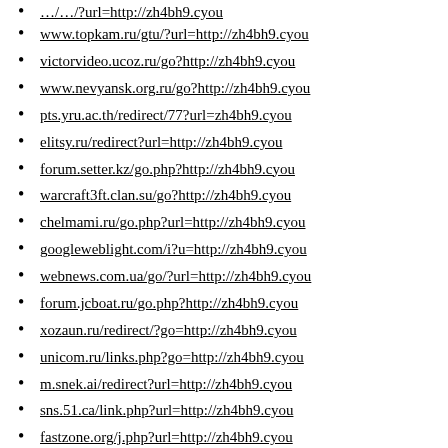www.topkam.ru/gtu/?url=http://zh4bh9.cyou
victorvideo.ucoz.ru/go?http://zh4bh9.cyou
www.nevyansk.org.ru/go?http://zh4bh9.cyou
pts.yru.ac.th/redirect/77?url=zh4bh9.cyou
elitsy.ru/redirect?url=http://zh4bh9.cyou
forum.setter.kz/go.php?http://zh4bh9.cyou
warcraft3ft.clan.su/go?http://zh4bh9.cyou
chelmami.ru/go.php?url=http://zh4bh9.cyou
googleweblight.com/i?u=http://zh4bh9.cyou
webnews.com.ua/go/?url=http://zh4bh9.cyou
forum.jcboat.ru/go.php?http://zh4bh9.cyou
xozaun.ru/redirect/?go=http://zh4bh9.cyou
unicom.ru/links.php?go=http://zh4bh9.cyou
m.snek.ai/redirect?url=http://zh4bh9.cyou
sns.51.ca/link.php?url=http://zh4bh9.cyou
fastzone.org/j.php?url=http://zh4bh9.cyou
www.bosanova.net/exit.php?url=zh4bh9.cyou
thefw.com/redirect?url=http://zh4bh9.cyou